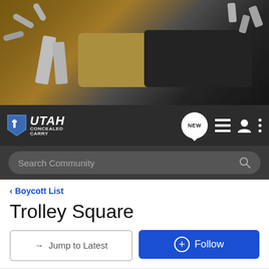[Figure (photo): Hero banner image showing firearms components including bullets, gun magazines, a tan/beige handgun, and a black handgun holster arranged on a wooden surface]
UTAH CONCEALED CARRY — Navigation bar with NEW, list, user, and menu icons
Search Community
< Boycott List
Trolley Square
→ Jump to Latest
+ Follow
1 - 19 of 19 Posts
Dennis Kennedy · Registered
Joined Apr 18, 2008 · 48 Posts